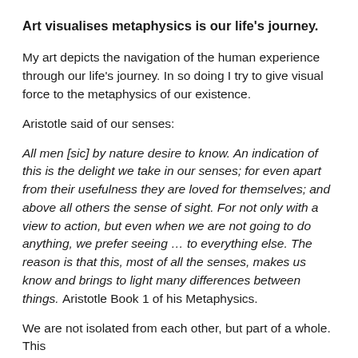Art visualises metaphysics is our life's journey.
My art depicts the navigation of the human experience through our life's journey. In so doing I try to give visual force to the metaphysics of our existence.
Aristotle said of our senses:
All men [sic] by nature desire to know. An indication of this is the delight we take in our senses; for even apart from their usefulness they are loved for themselves; and above all others the sense of sight. For not only with a view to action, but even when we are not going to do anything, we prefer seeing … to everything else. The reason is that this, most of all the senses, makes us know and brings to light many differences between things. Aristotle Book 1 of his Metaphysics.
We are not isolated from each other, but part of a whole. This